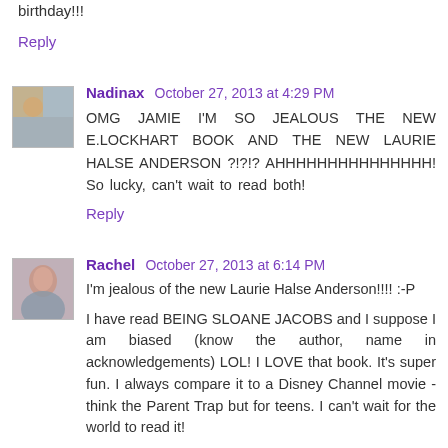birthday!!!
Reply
Nadinax  October 27, 2013 at 4:29 PM
OMG JAMIE I'M SO JEALOUS THE NEW E.LOCKHART BOOK AND THE NEW LAURIE HALSE ANDERSON ?!?!? AHHHHHHHHHHHHHHH! So lucky, can't wait to read both!
Reply
Rachel  October 27, 2013 at 6:14 PM
I'm jealous of the new Laurie Halse Anderson!!!! :-P
I have read BEING SLOANE JACOBS and I suppose I am biased (know the author, name in acknowledgements) LOL! I LOVE that book. It's super fun. I always compare it to a Disney Channel movie - think the Parent Trap but for teens. I can't wait for the world to read it!